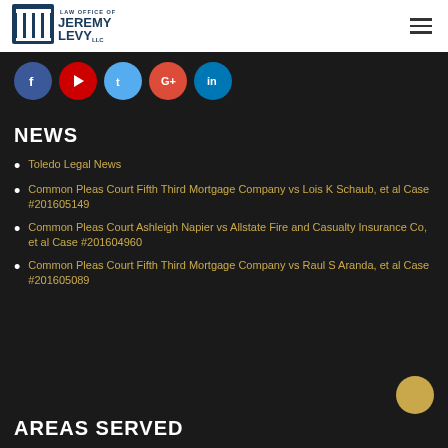[Figure (logo): Law Office of Jeremy Levy LLC logo with blue building icon]
[Figure (infographic): Social media icons: Facebook, YouTube, Twitter, Google+, LinkedIn]
NEWS
Toledo Legal News
Common Pleas Court Fifth Third Mortgage Company vs Lois K Schaub, et al Case #201605149
Common Pleas Court Ashleigh Napier vs Allstate Fire and Casualty Insurance Co, et al Case #201604960
Common Pleas Court Fifth Third Mortgage Company vs Raul S Aranda, et al Case #201605089
AREAS SERVED